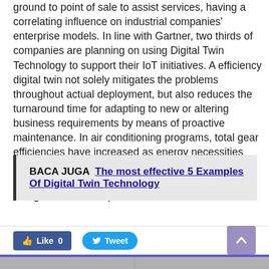ground to point of sale to assist services, having a correlating influence on industrial companies' enterprise models. In line with Gartner, two thirds of companies are planning on using Digital Twin Technology to support their IoT initiatives. A efficiency digital twin not solely mitigates the problems throughout actual deployment, but also reduces the turnaround time for adapting to new or altering business requirements by means of proactive maintenance. In air conditioning programs, total gear efficiencies have increased as energy necessities and shopper info have begun to stress 12 months-round efficiency as a substitute of just productivity ratings at maximum production.
BACA JUGA  The most effective 5 Examples Of Digital Twin Technology
[Figure (screenshot): Social share bar with Like 0 button (Facebook blue), Tweet button (Twitter blue), and a purple scroll-to-top arrow button]